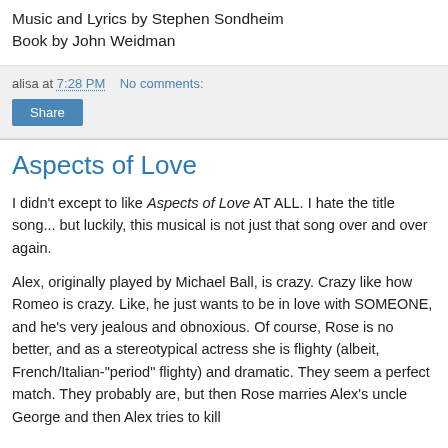Music and Lyrics by Stephen Sondheim
Book by John Weidman
alisa at 7:28 PM    No comments:
[Figure (other): Share button]
Aspects of Love
I didn't except to like Aspects of Love AT ALL. I hate the title song... but luckily, this musical is not just that song over and over again.
Alex, originally played by Michael Ball, is crazy. Crazy like how Romeo is crazy. Like, he just wants to be in love with SOMEONE, and he's very jealous and obnoxious. Of course, Rose is no better, and as a stereotypical actress she is flighty (albeit, French/Italian-"period" flighty) and dramatic. They seem a perfect match. They probably are, but then Rose marries Alex's uncle George and then Alex tries to kill her, but eventually all his fantasies are removed. George and ...